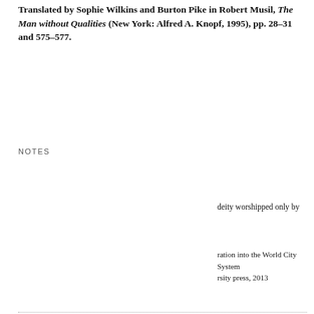Translated by Sophie Wilkins and Burton Pike in Robert Musil, The Man without Qualities (New York: Alfred A. Knopf, 1995), pp. 28–31 and 575–577.
NOTES
deity worshipped only by
[Figure (screenshot): Cookie consent overlay in French on a dark background with options: Tout accepter (green button), Tout refuser (red button), Personnaliser (white button), and Politique de confidentialité link. Icons shown at top.]
ration into the World City System rsity press, 2013